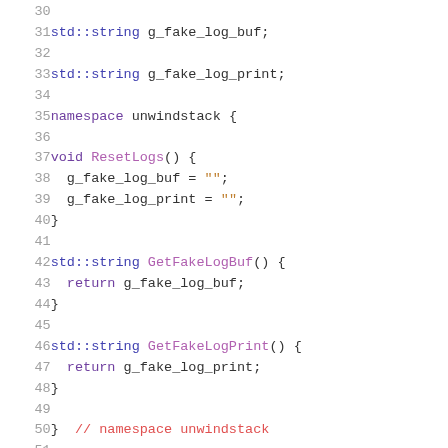Code listing lines 30-51: C++ source file with namespace unwindstack, functions ResetLogs, GetFakeLogBuf, GetFakeLogPrint
30: (blank)
31: std::string g_fake_log_buf;
32: (blank)
33: std::string g_fake_log_print;
34: (blank)
35: namespace unwindstack {
36: (blank)
37: void ResetLogs() {
38:   g_fake_log_buf = "";
39:   g_fake_log_print = "";
40: }
41: (blank)
42: std::string GetFakeLogBuf() {
43:   return g_fake_log_buf;
44: }
45: (blank)
46: std::string GetFakeLogPrint() {
47:   return g_fake_log_print;
48: }
49: (blank)
50: }  // namespace unwindstack
51: (blank)